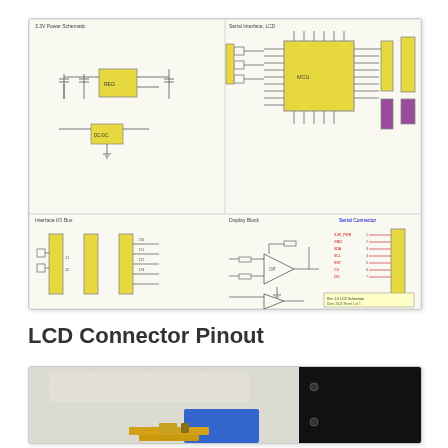[Figure (schematic): Multi-section electronic schematic diagram showing power supply section (top-left), main microcontroller/IC section with large yellow QFP chip (top-right), connector pinout headers (bottom-left), analog circuitry section (bottom-center), and LCD connector pinout with color-coded signals (bottom-right). Schematic has four quadrants with labeled sections and component values.]
LCD Connector Pinout
[Figure (photo): Close-up photograph of an LCD connector on a circuit board showing a blue tape or component, gold pads, and a black connector housing against a white textured background.]